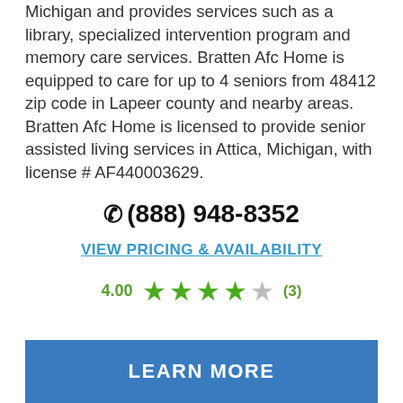Michigan and provides services such as a library, specialized intervention program and memory care services. Bratten Afc Home is equipped to care for up to 4 seniors from 48412 zip code in Lapeer county and nearby areas. Bratten Afc Home is licensed to provide senior assisted living services in Attica, Michigan, with license # AF440003629.
(888) 948-8352
VIEW PRICING & AVAILABILITY
4.00 (3)
LEARN MORE